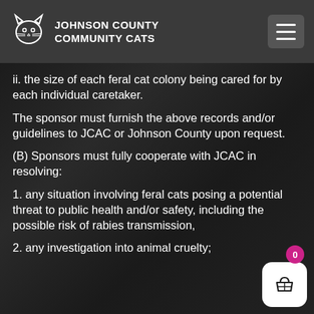JOHNSON COUNTY COMMUNITY CATS
ii. the size of each feral cat colony being cared for by each individual caretaker.
The sponsor must furnish the above records and/or guidelines to JCAC or Johnson County upon request.
(B) Sponsors must fully cooperate with JCAC in resolving:
1. any situation involving feral cats posing a potential threat to public health and/or safety, including the possible risk of rabies transmission,
2. any investigation into animal cruelty;